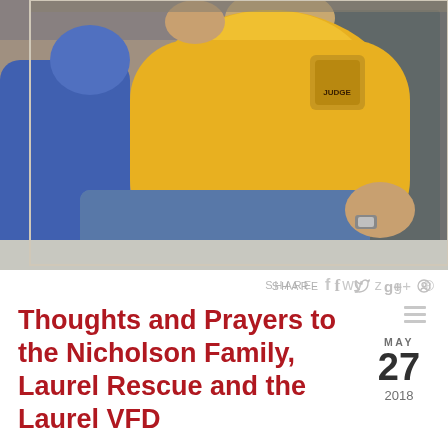[Figure (photo): A large man wearing a yellow t-shirt with a 'JUDGE' logo, seated, with another person in a blue shirt partially visible to the left. The man appears to be at an outdoor event.]
SHARE  f  y  g+  @
Thoughts and Prayers to the Nicholson Family, Laurel Rescue and the Laurel VFD
MAY 27 2018